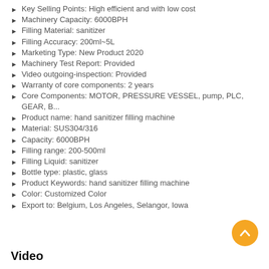Key Selling Points: High efficient and with low cost
Machinery Capacity: 6000BPH
Filling Material: sanitizer
Filling Accuracy: 200ml~5L
Marketing Type: New Product 2020
Machinery Test Report: Provided
Video outgoing-inspection: Provided
Warranty of core components: 2 years
Core Components: MOTOR, PRESSURE VESSEL, pump, PLC, GEAR, B...
Product name: hand sanitizer filling machine
Material: SUS304/316
Capacity: 6000BPH
Filling range: 200-500ml
Filling Liquid: sanitizer
Bottle type: plastic, glass
Product Keywords: hand sanitizer filling machine
Color: Customized Color
Export to: Belgium, Los Angeles, Selangor, Iowa
Video